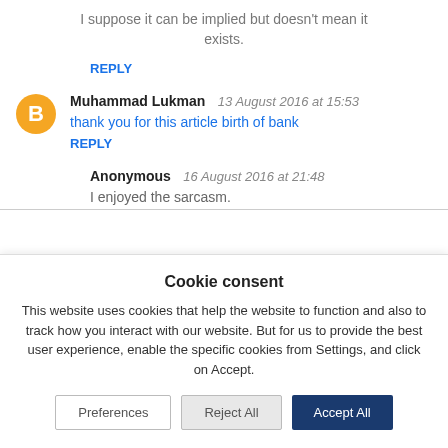I suppose it can be implied but doesn't mean it exists.
REPLY
Muhammad Lukman   13 August 2016 at 15:53
thank you for this article birth of bank
REPLY
Anonymous   16 August 2016 at 21:48
I enjoyed the sarcasm.
Cookie consent
This website uses cookies that help the website to function and also to track how you interact with our website. But for us to provide the best user experience, enable the specific cookies from Settings, and click on Accept.
Preferences
Reject All
Accept All